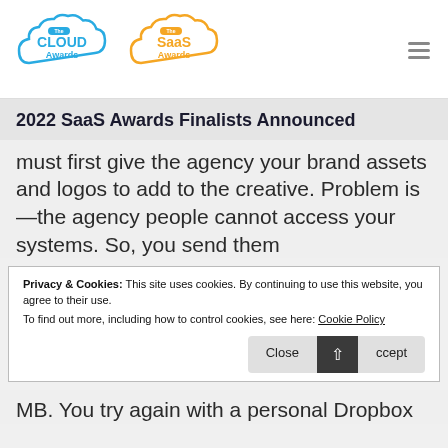[Figure (logo): The Cloud Awards logo - blue cloud outline with 'The CLOUD Awards' text in blue]
[Figure (logo): The SaaS Awards logo - orange cloud outline with 'The SaaS Awards' text in orange]
2022 SaaS Awards Finalists Announced
must first give the agency your brand assets and logos to add to the creative. Problem is—the agency people cannot access your systems. So, you send them
Privacy & Cookies: This site uses cookies. By continuing to use this website, you agree to their use. To find out more, including how to control cookies, see here: Cookie Policy
MB. You try again with a personal Dropbox